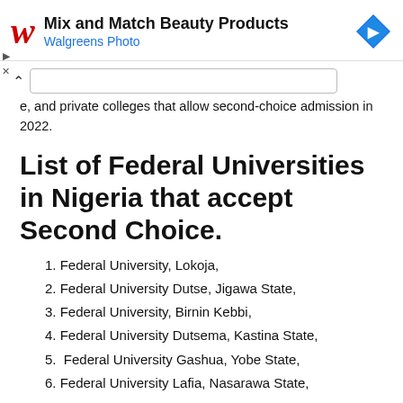[Figure (other): Walgreens Photo advertisement banner with red cursive W logo, text 'Mix and Match Beauty Products / Walgreens Photo', and a blue diamond arrow icon on the right.]
e, and private colleges that allow second-choice admission in 2022.
List of Federal Universities in Nigeria that accept Second Choice.
1. Federal University, Lokoja,
2. Federal University Dutse, Jigawa State,
3. Federal University, Birnin Kebbi,
4. Federal University Dutsema, Kastina State,
5.  Federal University Gashua, Yobe State,
6. Federal University Lafia, Nasarawa State,